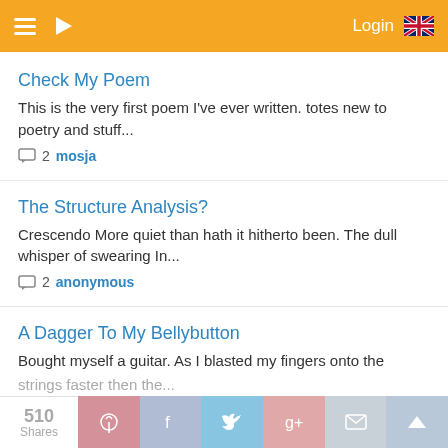Login
Check My Poem
This is the very first poem I've ever written. totes new to poetry and stuff...
2  mosja
The Structure Analysis?
Crescendo More quiet than hath it hitherto been. The dull whisper of swearing In...
2  anonymous
A Dagger To My Bellybutton
Bought myself a guitar. As I blasted my fingers onto the strings faster then the...
510 Shares